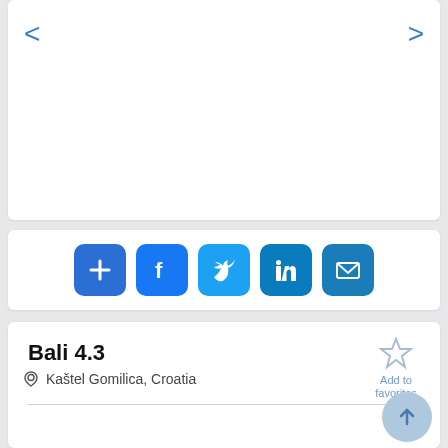[Figure (screenshot): Navigation arrows and image carousel area (white card with left < and right > arrows in blue)]
[Figure (infographic): Row of social sharing buttons: Add (+), Facebook, Twitter, LinkedIn, Email]
Bali 4.3
Kaštel Gomilica, Croatia
Catamaran